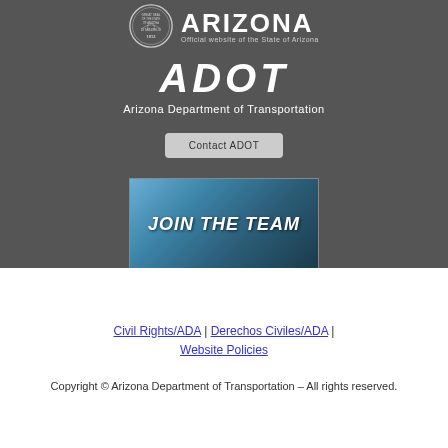[Figure (logo): Arizona state seal and ARIZONA official website header with ADOT logo and Arizona Department of Transportation text]
Contact ADOT
[Figure (photo): JOIN THE TEAM recruitment banner with group of employees]
Civil Rights/ADA | Derechos Civiles/ADA | Website Policies
Copyright © Arizona Department of Transportation – All rights reserved.